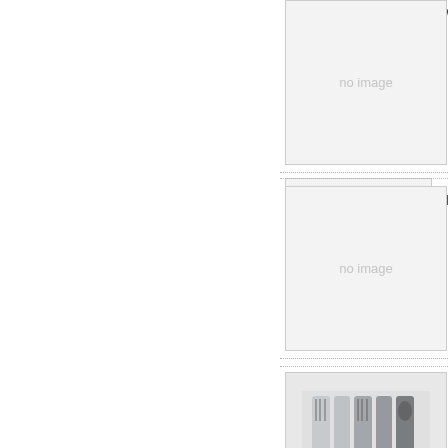[Figure (photo): No image placeholder box for white cutlery product]
White
[Figure (photo): No image placeholder box for black cutlery product]
Black
[Figure (photo): Photo of wrapped cutlery sets in clear plastic packaging]
Wrap
[Figure (photo): No image placeholder box for black cutlery product]
Black
[Figure (photo): Photo of black and silver cutlery (spoon, fork) on white background]
Med-